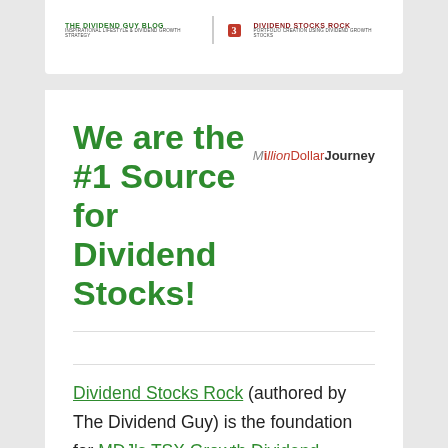[Figure (logo): Top banner showing 'The Dividend Guy Blog' on the left and 'Dividend Stocks Rock' on the right with a red numbered badge]
We are the #1 Source for Dividend Stocks!
[Figure (logo): MillionDollarJourney logo in grey, red and black text]
Dividend Stocks Rock (authored by The Dividend Guy) is the foundation for MDJ's TSX Growth Dividend Stocks List! Here's what the Canada's oldest personal financial blog wrote about us: